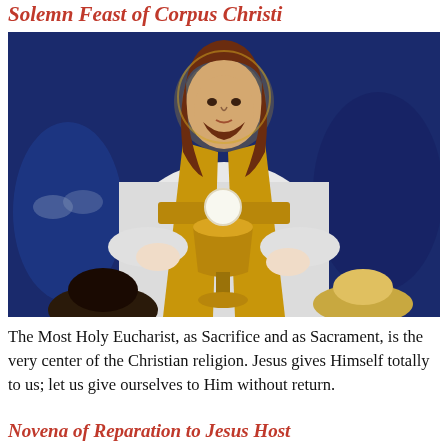Solemn Feast of Corpus Christi
[Figure (illustration): Religious painting depicting Jesus Christ in white and gold vestments holding a chalice and Eucharistic host, with figures bowing at the bottom of the image, on a blue background.]
The Most Holy Eucharist, as Sacrifice and as Sacrament, is the very center of the Christian religion. Jesus gives Himself totally to us; let us give ourselves to Him without return.
Novena of Reparation to Jesus Host